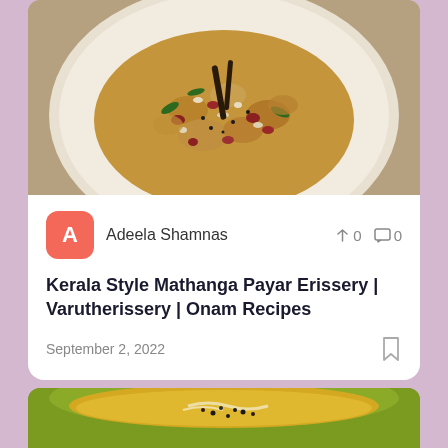[Figure (photo): Top-view photo of Kerala style Mathanga Payar Erissery dish served on a white plate, showing a dry curry with beans, coconut, and spices, garnished with dried red chilies and curry leaves.]
Adeela Shamnas
↑ 0   □ 0
Kerala Style Mathanga Payar Erissery | Varutherissery | Onam Recipes
September 2, 2022
[Figure (photo): Close-up photo of a yellow/green soup or dal in a lime-green bowl, garnished with black pepper and a drizzle of ghee or cream.]